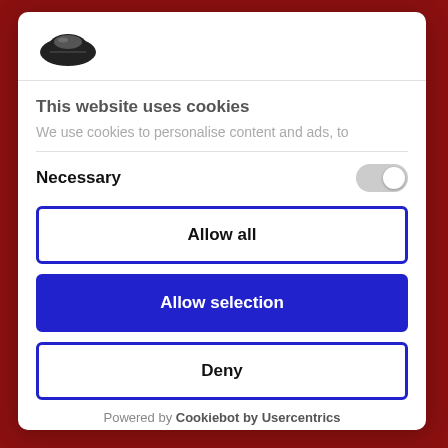[Figure (logo): Cookiebot logo: black cookie/hat icon]
This website uses cookies
We use cookies to personalise content and ads, to
Necessary
Allow all
Allow selection
Deny
Powered by Cookiebot by Usercentrics